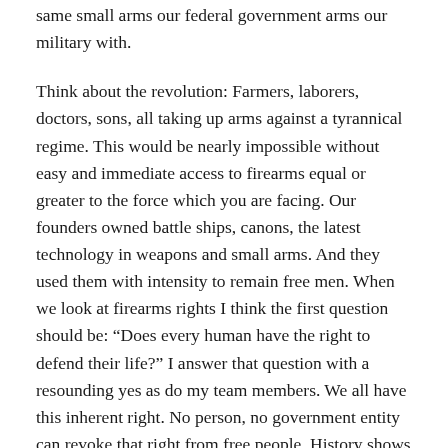same small arms our federal government arms our military with.
Think about the revolution: Farmers, laborers, doctors, sons, all taking up arms against a tyrannical regime. This would be nearly impossible without easy and immediate access to firearms equal or greater to the force which you are facing. Our founders owned battle ships, canons, the latest technology in weapons and small arms. And they used them with intensity to remain free men. When we look at firearms rights I think the first question should be: “Does every human have the right to defend their life?” I answer that question with a resounding yes as do my team members. We all have this inherent right. No person, no government entity can revoke that right from free people. History shows us tyrannical regimes and one of the first moves often made is disarming the populace.
You now have an idea where we stand but let me re-iterate: We believe in the inherent right for the people to own all arms. This